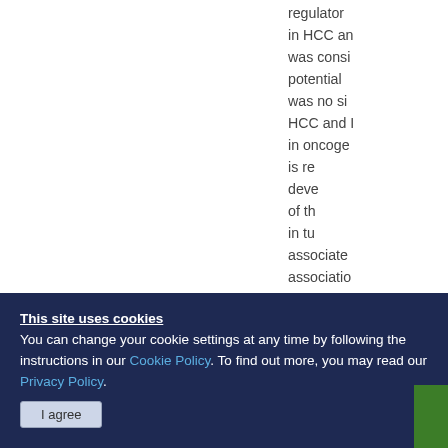regulator in HCC and was considered potential was no significant HCC and in oncoge is re deve of the in tu associate associatio high expre
[Figure (other): Green 'Need help?' vertical button tab on right side]
[Figure (other): Red X close button]
This site uses cookies
You can change your cookie settings at any time by following the instructions in our Cookie Policy. To find out more, you may read our Privacy Policy.
I agree